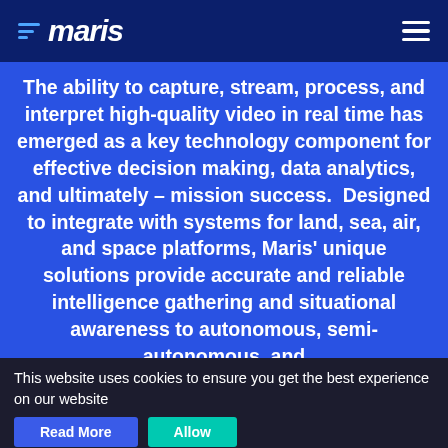maris
The ability to capture, stream, process, and interpret high-quality video in real time has emerged as a key technology component for effective decision making, data analytics, and ultimately – mission success.  Designed to integrate with systems for land, sea, air, and space platforms, Maris' unique solutions provide accurate and reliable intelligence gathering and situational awareness to autonomous, semi-autonomous, and
This website uses cookies to ensure you get the best experience on our website
Read More
Allow